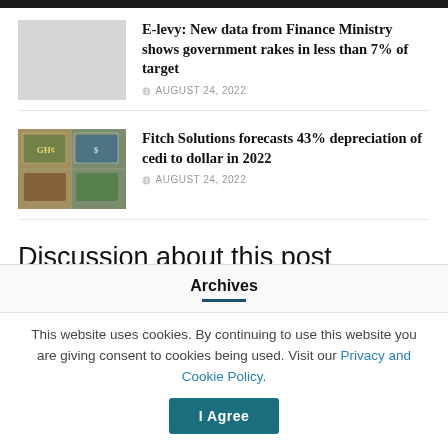E-levy: New data from Finance Ministry shows government rakes in less than 7% of target
AUGUST 24, 2022
[Figure (photo): Photo of currency notes — mixed banknotes]
Fitch Solutions forecasts 43% depreciation of cedi to dollar in 2022
AUGUST 24, 2022
Discussion about this post
Archives
This website uses cookies. By continuing to use this website you are giving consent to cookies being used. Visit our Privacy and Cookie Policy.